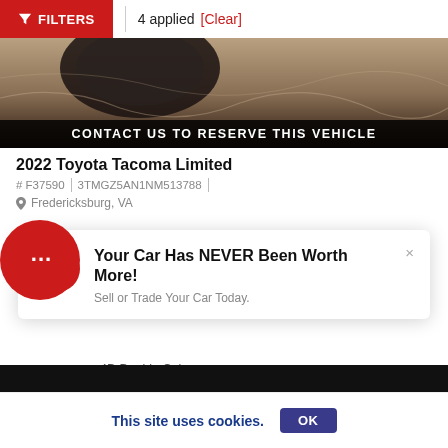FILTERS  4 applied [Clear]
[Figure (photo): Close-up of a truck tire on rocky terrain with dark overlay banner reading CONTACT US TO RESERVE THIS VEHICLE]
2022 Toyota Tacoma Limited
# F37590  |  3TMGZ5AN1NM513788  |
Fredericksburg, VA
Your Car Has NEVER Been Worth More!
Sell or Trade Your Car Today.
4D Double Cab
r Color: Blue
or Color: Blk Lth
This site uses cookies.  OK